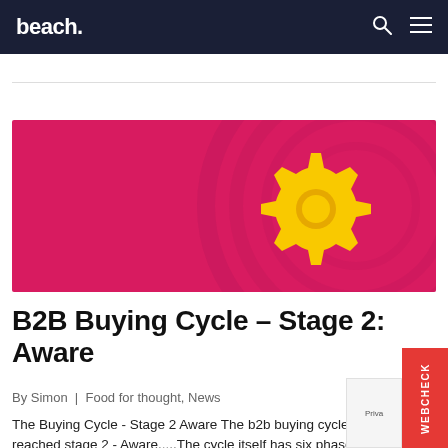beach.
[Figure (illustration): Pink/magenta banner image with a 3D yellow gear/cog icon on the right side and decorative wave patterns in the background]
B2B Buying Cycle – Stage 2: Aware
By Simon | Food for thought, News
The Buying Cycle - Stage 2 Aware The b2b buying cycle has reached stage 2 - Aware.....The cycle itself has six phases - Unaware, Aware,